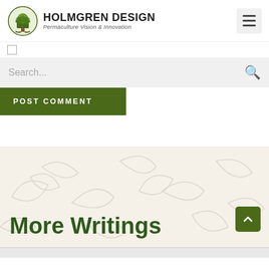[Figure (logo): Holmgren Design logo with tree graphic, brand name 'HOLMGREN DESIGN' and tagline 'Permaculture Vision & Innovation']
[Figure (screenshot): Search bar with placeholder text 'Search...' and search icon on grey background]
[Figure (screenshot): POST COMMENT button in dark olive green]
More Writings